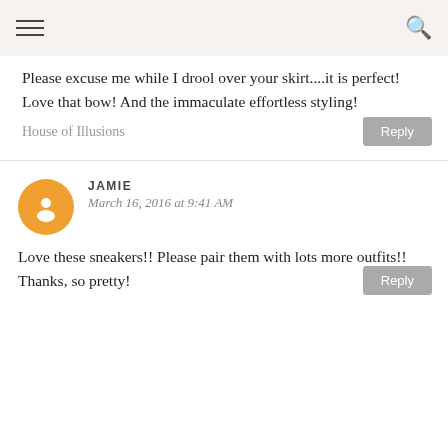≡  🔍
Please excuse me while I drool over your skirt....it is perfect! Love that bow! And the immaculate effortless styling!
House of Illusions
Reply
JAMIE
March 16, 2016 at 9:41 AM
Love these sneakers!! Please pair them with lots more outfits!! Thanks, so pretty!
Reply